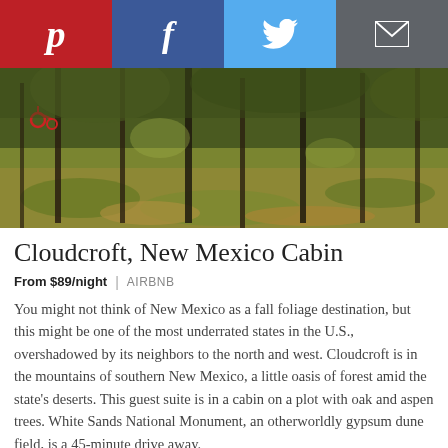[Figure (photo): Social share bar with Pinterest (red), Facebook (dark blue), Twitter (light blue), and Email (grey) buttons across the top]
[Figure (photo): Outdoor forest/meadow scene with tall thin tree trunks, green and yellow-brown grass and fallen leaves on the ground, a small red tricycle visible in the upper left]
Cloudcroft, New Mexico Cabin
From $89/night  |  AIRBNB
You might not think of New Mexico as a fall foliage destination, but this might be one of the most underrated states in the U.S., overshadowed by its neighbors to the north and west. Cloudcroft is in the mountains of southern New Mexico, a little oasis of forest amid the state's deserts. This guest suite is in a cabin on a plot with oak and aspen trees. White Sands National Monument, an otherworldly gypsum dune field, is a 45-minute drive away.